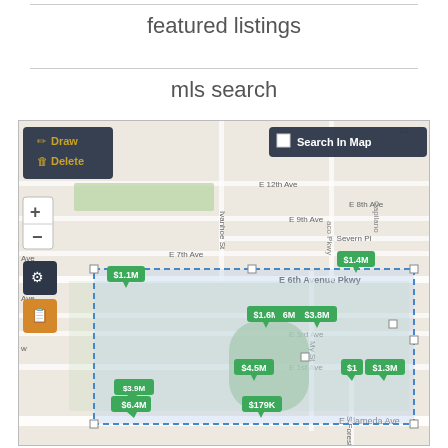featured listings
mls search
[Figure (map): Interactive real estate MLS map showing a neighborhood in Denver with property price markers ($1.1M, $1.4M, $1.6M, $3.8M, $4.5M, $6.4M, $179K, $1.3M, $1, etc.) overlaid on street map. A dashed blue selection rectangle surrounds the E 6th Avenue Pkwy area. Map controls include Draw/Delete panel, Search In Map button, zoom +/- controls, and layer tool buttons.]